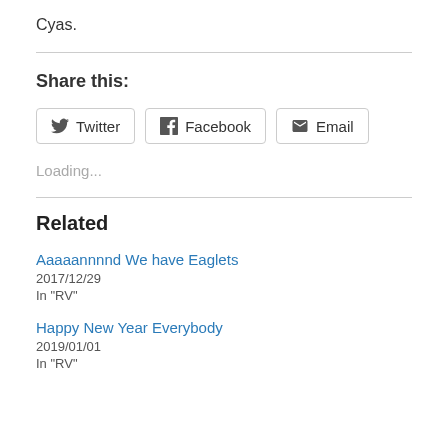Cyas.
Share this:
Twitter  Facebook  Email
Loading...
Related
Aaaaannnnd We have Eaglets
2017/12/29
In "RV"
Happy New Year Everybody
2019/01/01
In "RV"